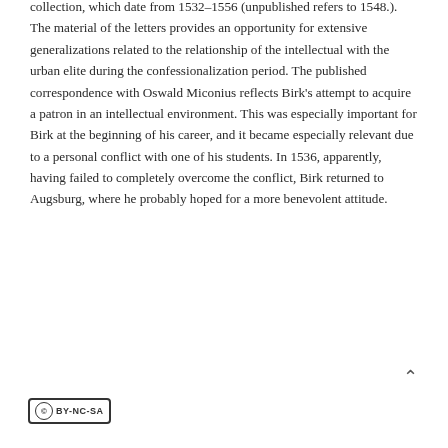collection, which date from 1532–1556 (unpublished refers to 1548.). The material of the letters provides an opportunity for extensive generalizations related to the relationship of the intellectual with the urban elite during the confessionalization period. The published correspondence with Oswald Miconius reflects Birk's attempt to acquire a patron in an intellectual environment. This was especially important for Birk at the beginning of his career, and it became especially relevant due to a personal conflict with one of his students. In 1536, apparently, having failed to completely overcome the conflict, Birk returned to Augsburg, where he probably hoped for a more benevolent attitude.
[Figure (logo): Creative Commons BY-NC-SA license badge]